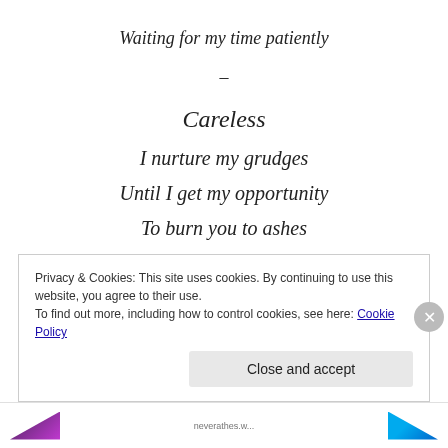Waiting for my time patiently
–
Careless
I nurture my grudges
Until I get my opportunity
To burn you to ashes
Privacy & Cookies: This site uses cookies. By continuing to use this website, you agree to their use.
To find out more, including how to control cookies, see here: Cookie Policy
Close and accept